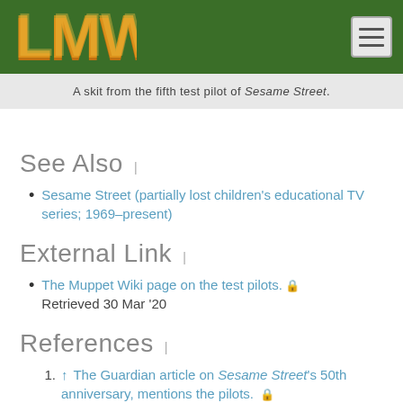LMW
A skit from the fifth test pilot of Sesame Street.
See Also
Sesame Street (partially lost children's educational TV series; 1969–present)
External Link
The Muppet Wiki page on the test pilots. Retrieved 30 Mar '20
References
↑ The Guardian article on Sesame Street's 50th anniversary, mentions the pilots.